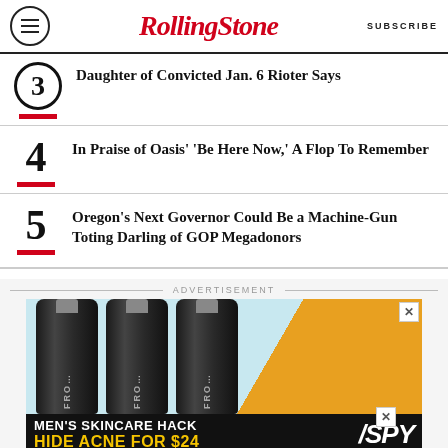RollingStone — SUBSCRIBE
Daughter of Convicted Jan. 6 Rioter Says
4 In Praise of Oasis' 'Be Here Now,' A Flop To Remember
5 Oregon's Next Governor Could Be a Machine-Gun Toting Darling of GOP Megadonors
[Figure (photo): Advertisement banner showing skincare product tubes with text MEN'S SKINCARE HACK HIDE ACNE FOR $24 and SPY logo]